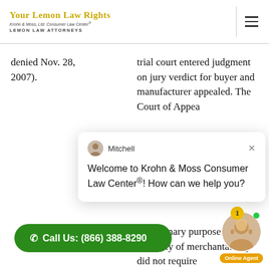Your Lemon Law Rights — Krohn & Moss, Ltd. Consumer Law Center® — Lemon Law Attorneys
denied Nov. 28, 2007).
trial court entered judgment on jury verdict for buyer and manufacturer appealed. The Court of Appeal...
[Figure (screenshot): Chat popup with avatar of Mitchell, greeting message: Welcome to Krohn & Moss Consumer Law Center®! How can we help you?]
for ordinary purposes implied warranty of merchantability did not require
[Figure (infographic): Green call button: Call Us: (866) 388-8290]
[Figure (photo): Online agent photo with green dot and Online Agent badge and notification bubble showing 1]